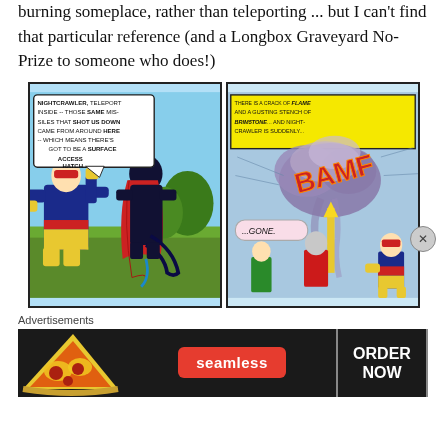burning someplace, rather than teleporting ... but I can't find that particular reference (and a Longbox Graveyard No-Prize to someone who does!)
[Figure (illustration): Two comic book panels side by side. Left panel shows Cyclops (in blue and yellow X-Men suit) pointing and speaking to a dark-caped figure (Nightcrawler), with a speech bubble reading: NIGHTCRAWLER, TELEPORT INSIDE -- THOSE SAME MIS-SILES THAT SHOT US DOWN CAME FROM AROUND HERE -- WHICH MEANS THERE'S GOT TO BE A SURFACE ACCESS HATCH... Right panel has yellow caption box reading: THERE IS A CRACK OF FLAME AND A GUSTING STENCH OF BRIMSTONE... AND NIGHTCRAWLER IS SUDDENLY... followed by a large BAMF sound effect and a dark smoke cloud, with a speech bubble reading ...GONE. and X-Men characters visible at the bottom.]
Advertisements
[Figure (screenshot): Seamless food delivery advertisement banner with pizza image on left, Seamless logo in red pill in center, and ORDER NOW button on right against dark background.]